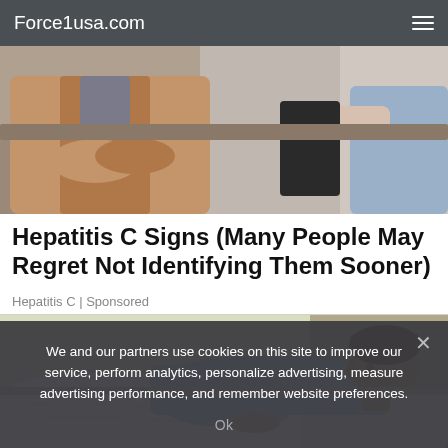Force1usa.com
[Figure (photo): Two people sitting on a couch, one appears to be a patient in a brown cardigan with arms crossed, the other in the background]
Hepatitis C Signs (Many People May Regret Not Identifying Them Sooner)
Hepatitis C | Sponsored
[Figure (illustration): Cartoon illustration of a man lying in bed on his side, wearing a light blue shirt, appearing to be resting or unwell]
We and our partners use cookies on this site to improve our service, perform analytics, personalize advertising, measure advertising performance, and remember website preferences.